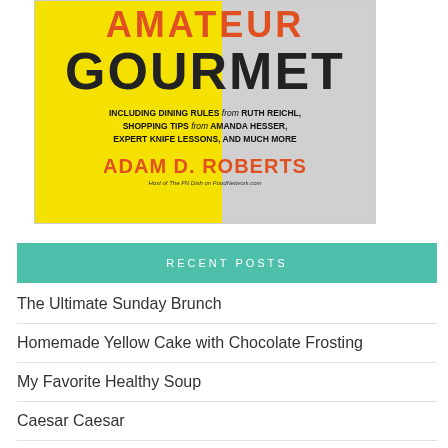[Figure (illustration): Book cover of 'Amateur Gourmet' by Adam D. Roberts. Yellow and white background with a person in a chef's apron. Text includes 'AMATEUR GOURMET', subtitle 'INCLUDING DINING RULES from RUTH REICHL, SHOPPING TIPS from AMANDA HESSER, EXPERT KNIFE LESSONS, AND MUCH MORE', author 'ADAM D. ROBERTS', and tagline 'Host of The FN Dish on FoodNetwork.com'.]
RECENT POSTS
The Ultimate Sunday Brunch
Homemade Yellow Cake with Chocolate Frosting
My Favorite Healthy Soup
Caesar Caesar